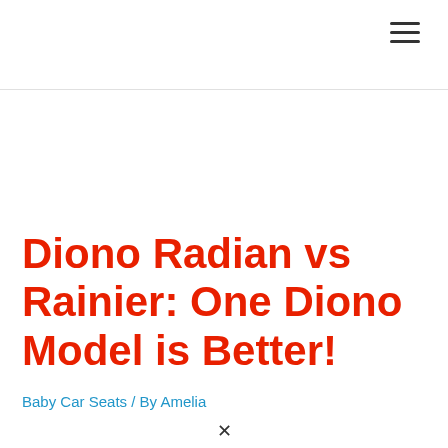Diono Radian vs Rainier: One Diono Model is Better!
Baby Car Seats / By Amelia